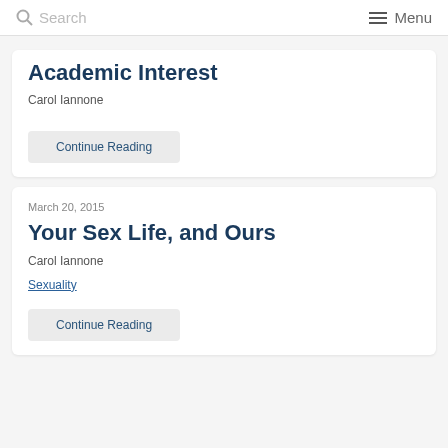Search   Menu
Academic Interest
Carol Iannone
Continue Reading
March 20, 2015
Your Sex Life, and Ours
Carol Iannone
Sexuality
Continue Reading